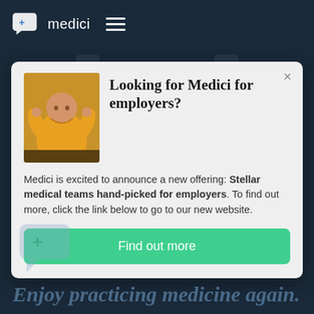[Figure (screenshot): Medici app website screenshot showing navigation bar with Medici logo and hamburger menu icon on dark navy background, with phone device silhouettes and a modal popup overlay]
Looking for Medici for employers?
Medici is excited to announce a new offering: Stellar medical teams hand-picked for employers. To find out more, click the link below to go to our new website.
Find out more
Enjoy practicing medicine again.